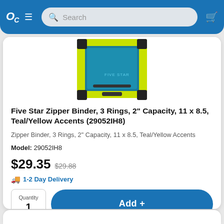OC ≡ Search [cart]
[Figure (photo): Five Star Zipper Binder in teal/yellow color, shown from the front angle]
Five Star Zipper Binder, 3 Rings, 2" Capacity, 11 x 8.5, Teal/Yellow Accents (29052IH8)
Zipper Binder, 3 Rings, 2" Capacity, 11 x 8.5, Teal/Yellow Accents
Model: 29052IH8
$29.35  $29.88
🚚 1-2 Day Delivery
Quantity
1
Add +